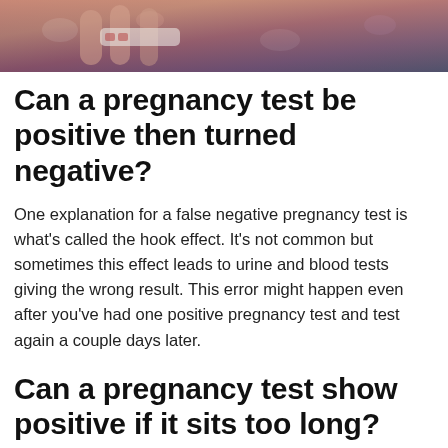[Figure (photo): Close-up photo of a person's hands holding a pregnancy test, wearing a floral patterned top]
Can a pregnancy test be positive then turned negative?
One explanation for a false negative pregnancy test is what’s called the hook effect. It’s not common but sometimes this effect leads to urine and blood tests giving the wrong result. This error might happen even after you’ve had one positive pregnancy test and test again a couple days later.
Can a pregnancy test show positive if it sits too long?